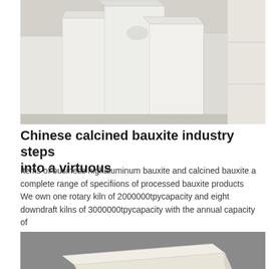[Figure (photo): Stacked white/off-white calcined bauxite blocks or boards arranged in a pile]
Chinese calcined bauxite industry steps into a virtuous
Items of business highaluminum bauxite and calcined bauxite a complete range of specifiions of processed bauxite products We own one rotary kiln of 2000000tpycapacity and eight downdraft kilns of 3000000tpycapacity with the annual capacity of
[Figure (photo): Two pale/cream colored calcined bauxite blocks on a grey background]
Calcined Bauxite in Porbandar